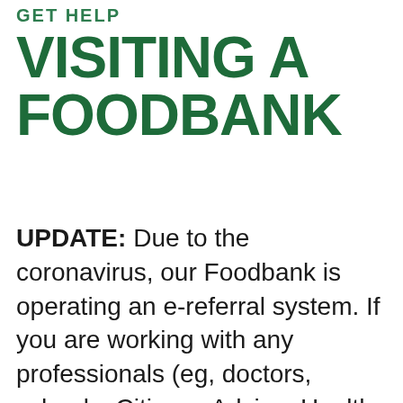GET HELP
VISITING A FOODBANK
UPDATE: Due to the coronavirus, our Foodbank is operating an e-referral system. If you are working with any professionals (eg, doctors, schools, Citizens Advice, Health Visitor, Social Worker etc) they will be able to refer you to our Foodbank. We are operating a collection service from our Foodbanks in Bodmin, Camelford